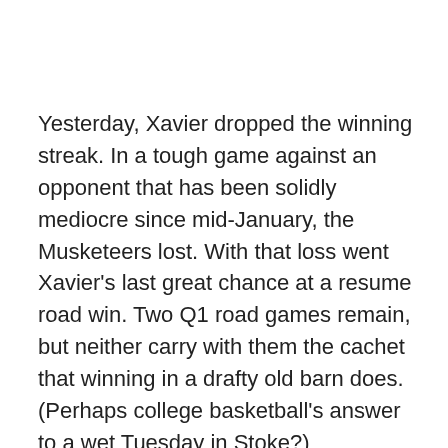Yesterday, Xavier dropped the winning streak. In a tough game against an opponent that has been solidly mediocre since mid-January, the Musketeers lost. With that loss went Xavier's last great chance at a resume road win. Two Q1 road games remain, but neither carry with them the cachet that winning in a drafty old barn does. (Perhaps college basketball's answer to a wet Tuesday in Stoke?)
Xavier's metrics changed after that loss, but not in the way that they usually do after a loss. The Musketeers moved up two spots in KenPom to #45, they jumped up to #39 in Bart Torvik and, perhaps most importantly.